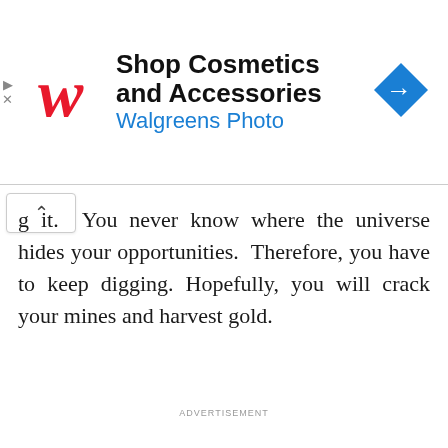[Figure (other): Walgreens advertisement banner with logo, text 'Shop Cosmetics and Accessories' and 'Walgreens Photo', and a blue navigation arrow icon]
g it. You never know where the universe hides your opportunities. Therefore, you have to keep digging. Hopefully, you will crack your mines and harvest gold.
ADVERTISEMENT